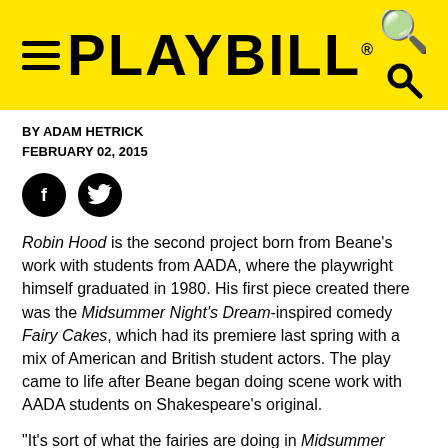PLAYBILL
BY ADAM HETRICK
FEBRUARY 02, 2015
[Figure (illustration): Facebook and Twitter social media icon buttons (black circles with white f and bird icons)]
Robin Hood is the second project born from Beane's work with students from AADA, where the playwright himself graduated in 1980. His first piece created there was the Midsummer Night's Dream-inspired comedy Fairy Cakes, which had its premiere last spring with a mix of American and British student actors. The play came to life after Beane began doing scene work with AADA students on Shakespeare's original.
"It's sort of what the fairies are doing in Midsummer Night's Dream when they're not dealing with Oberon and Titania," Beane explained. The verse comedy, which Beane is